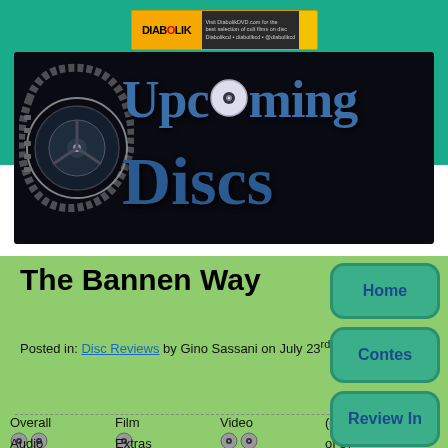[Figure (logo): Diabolik DVD banner advertisement with logo on black/yellow background]
[Figure (logo): Upcoming Discs website header logo with film reel and disc on dark background, text reads Upcoming Discs]
The Bannen Way
Posted in: Disc Reviews by Gino Sassani on July 23rd, 2010
Overall  Film  Video  (out
Audio  Extras  of 5)